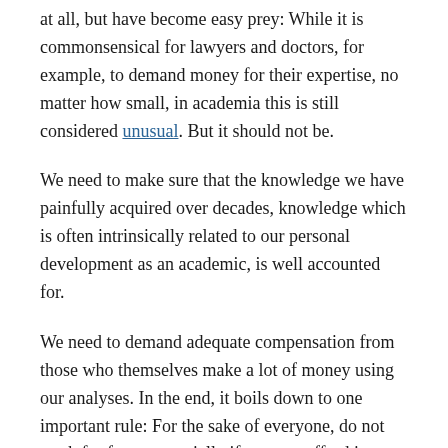at all, but have become easy prey: While it is commonsensical for lawyers and doctors, for example, to demand money for their expertise, no matter how small, in academia this is still considered unusual. But it should not be.
We need to make sure that the knowledge we have painfully acquired over decades, knowledge which is often intrinsically related to our personal development as an academic, is well accounted for.
We need to demand adequate compensation from those who themselves make a lot of money using our analyses. In the end, it boils down to one important rule: For the sake of everyone, do not work for free – especially if you can afford it.
Works cited.
Bascom, William. 1948. Ponapean Prestige Economy. Southwestern Journal of Anthropology 4(2): 211-221.